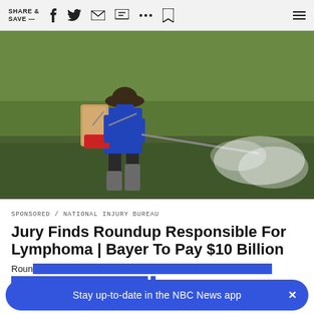SHARE & SAVE —
[Figure (photo): A farmer wearing a hat and blue long-sleeve shirt with a backpack sprayer, spraying pesticide (herbicide) over a flooded green rice field. The spray creates a white mist cloud to the right.]
SPONSORED / NATIONAL INJURY BUREAU
Jury Finds Roundup Responsible For Lymphoma | Bayer To Pay $10 Billion
Rounup … to pay … er
Stay up-to-date in the NBC News app